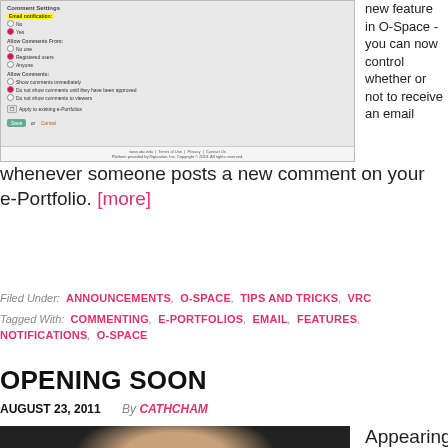[Figure (screenshot): Screenshot of O-Space comment settings interface showing email notification options, allow comments from options (No one, Registered users, Anyone), show comments options, apply to existing e-Portfolios checkbox, and Save/Cancel buttons. Email notification row is highlighted in yellow.]
new feature in O-Space - you can now control whether or not to receive an email whenever someone posts a new comment on your e-Portfolio. [more]
Filed Under: ANNOUNCEMENTS, O-SPACE, TIPS AND TRICKS, VRC
Tagged With: COMMENTING, E-PORTFOLIOS, EMAIL, FEATURES, NOTIFICATIONS, O-SPACE
OPENING SOON
AUGUST 23, 2011  By CATHCHAM
[Figure (photo): A person's face/head photo with dark background, partially visible at bottom of page]
Appearing